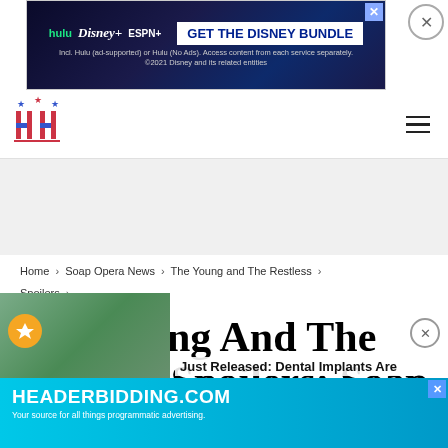[Figure (screenshot): Disney Bundle advertisement banner with Hulu, Disney+, ESPN+ logos and 'GET THE DISNEY BUNDLE' button on dark blue background]
[Figure (logo): Hollywood Hiccups website logo with stars and HH letters in red/blue]
Home > Soap Opera News > The Young and The Restless > Spoilers
The Young And The Restless Spoilers: Soap
[Figure (screenshot): HEADERBIDDING.COM advertisement banner with dental implants text overlay]